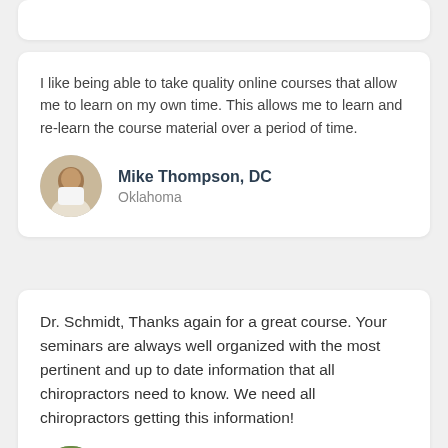I like being able to take quality online courses that allow me to learn on my own time. This allows me to learn and re-learn the course material over a period of time.
Mike Thompson, DC
Oklahoma
Dr. Schmidt, Thanks again for a great course. Your seminars are always well organized with the most pertinent and up to date information that all chiropractors need to know. We need all chiropractors getting this information!
Michael Hall, DC, DABCN